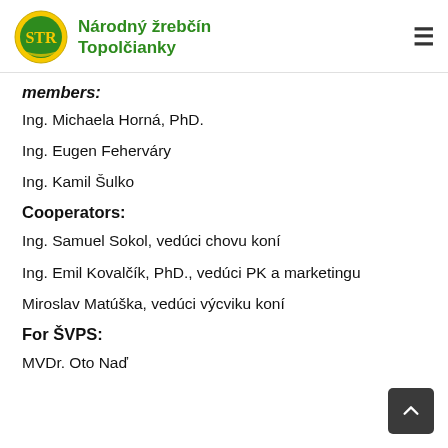Národný žrebčín Topolčianky
members:
Ing. Michaela Horná, PhD.
Ing. Eugen Feherváry
Ing. Kamil Šulko
Cooperators:
Ing. Samuel Sokol, vedúci chovu koní
Ing. Emil Kovalčík, PhD., vedúci PK a marketingu
Miroslav Matúška, vedúci výcviku koní
For ŠVPS:
MVDr. Oto Naď